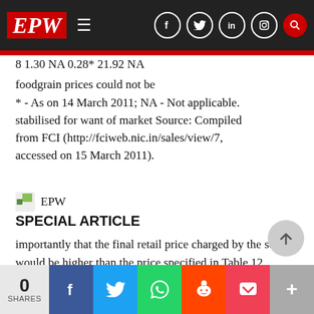EPW — navigation bar with social icons
8 1.30 NA 0.28* 21.92 NA
foodgrain prices could not be
* - As on 14 March 2011; NA - Not applicable. stabilised for want of market Source: Compiled from FCI (http://fciweb.nic.in/sales/view/7, accessed on 15 March 2011).
[Figure (logo): EPW logo image]
SPECIAL ARTICLE
importantly that the final retail price charged by the sellers would be higher than the price specified in Table 12, depending upon the seller's distribution cost, profit margins and value
0 SHARES | Share buttons: Facebook, Twitter, WhatsApp, Reddit, Pocket, More